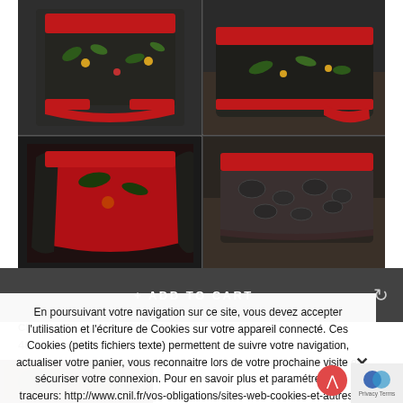[Figure (photo): Four-panel product photo grid showing dark tropical print underwear/shorts with red waistband and trim, viewed from multiple angles]
+ ADD TO CART
Classical Panty Dinos Comfshort
40.00 €
En poursuivant votre navigation sur ce site, vous devez accepter l'utilisation et l'écriture de Cookies sur votre appareil connecté. Ces Cookies (petits fichiers texte) permettent de suivre votre navigation, actualiser votre panier, vous reconnaitre lors de votre prochaine visite et sécuriser votre connexion. Pour en savoir plus et paramétrer les traceurs: http://www.cnil.fr/vos-obligations/sites-web-cookies-et-autres-traceurs/que-dit-la-loi/